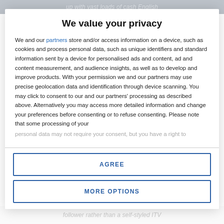up with vast loads of cash English
We value your privacy
We and our partners store and/or access information on a device, such as cookies and process personal data, such as unique identifiers and standard information sent by a device for personalised ads and content, ad and content measurement, and audience insights, as well as to develop and improve products. With your permission we and our partners may use precise geolocation data and identification through device scanning. You may click to consent to our and our partners' processing as described above. Alternatively you may access more detailed information and change your preferences before consenting or to refuse consenting. Please note that some processing of your personal data may not require your consent, but you have a right to
AGREE
MORE OPTIONS
follower rather than a self-styled ITV